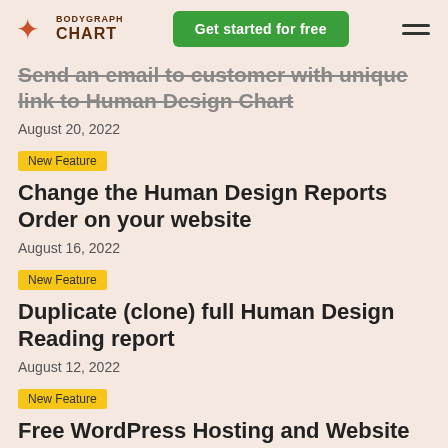BODYGRAPH CHART | Get started for free
Send an email to customer with unique link to Human Design Chart
August 20, 2022
New Feature
Change the Human Design Reports Order on your website
August 16, 2022
New Feature
Duplicate (clone) full Human Design Reading report
August 12, 2022
New Feature
Free WordPress Hosting and Website
August 5, 2022